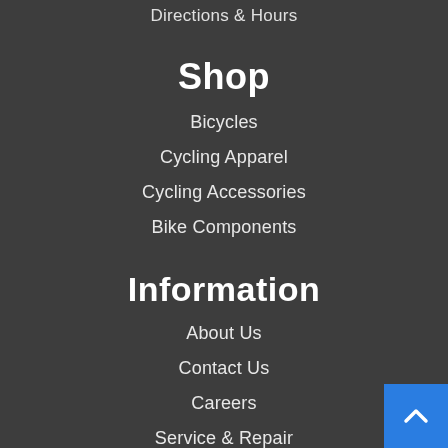Directions & Hours
Shop
Bicycles
Cycling Apparel
Cycling Accessories
Bike Components
Information
About Us
Contact Us
Careers
Service & Repair